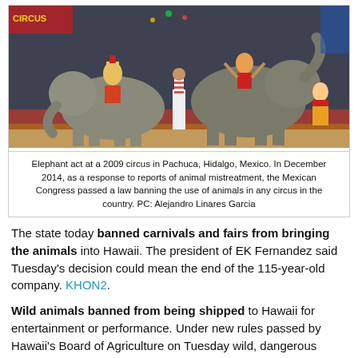[Figure (photo): Circus performance showing elephants with riders in colorful costumes on a circus stage with red curtains and decorations, with a handler in white pants standing in the foreground.]
Elephant act at a 2009 circus in Pachuca, Hidalgo, Mexico. In December 2014, as a response to reports of animal mistreatment, the Mexican Congress passed a law banning the use of animals in any circus in the country. PC: Alejandro Linares Garcia
The state today banned carnivals and fairs from bringing the animals into Hawaii. The president of EK Fernandez said Tuesday's decision could mean the end of the 115-year-old company. KHON2.
Wild animals banned from being shipped to Hawaii for entertainment or performance. Under new rules passed by Hawaii's Board of Agriculture on Tuesday wild, dangerous animals will be banned from being shipped to Hawaii for